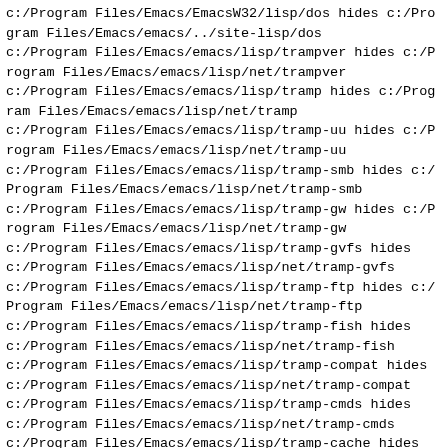c:/Program Files/Emacs/EmacsW32/lisp/dos hides c:/Program Files/Emacs/emacs/../site-lisp/dos
c:/Program Files/Emacs/emacs/lisp/trampver hides c:/Program Files/Emacs/emacs/lisp/net/trampver
c:/Program Files/Emacs/emacs/lisp/tramp hides c:/Program Files/Emacs/emacs/lisp/net/tramp
c:/Program Files/Emacs/emacs/lisp/tramp-uu hides c:/Program Files/Emacs/emacs/lisp/net/tramp-uu
c:/Program Files/Emacs/emacs/lisp/tramp-smb hides c:/Program Files/Emacs/emacs/lisp/net/tramp-smb
c:/Program Files/Emacs/emacs/lisp/tramp-gw hides c:/Program Files/Emacs/emacs/lisp/net/tramp-gw
c:/Program Files/Emacs/emacs/lisp/tramp-gvfs hides c:/Program Files/Emacs/emacs/lisp/net/tramp-gvfs
c:/Program Files/Emacs/emacs/lisp/tramp-ftp hides c:/Program Files/Emacs/emacs/lisp/net/tramp-ftp
c:/Program Files/Emacs/emacs/lisp/tramp-fish hides c:/Program Files/Emacs/emacs/lisp/net/tramp-fish
c:/Program Files/Emacs/emacs/lisp/tramp-compat hides c:/Program Files/Emacs/emacs/lisp/net/tramp-compat
c:/Program Files/Emacs/emacs/lisp/tramp-cmds hides c:/Program Files/Emacs/emacs/lisp/net/tramp-cmds
c:/Program Files/Emacs/emacs/lisp/tramp-cache hides c:/Program Files/Emacs/emacs/lisp/net/tramp-cache
c:/Program Files/Emacs/emacs/lisp/socks hides c:/Program Files/Emacs/emacs/lisp/net/socks
Features:
(shadow mail-extr message smtpmail ecomplete rfc822 mml mm-decode mm-bodies mm-encode mailcap mail-parse rfc2231